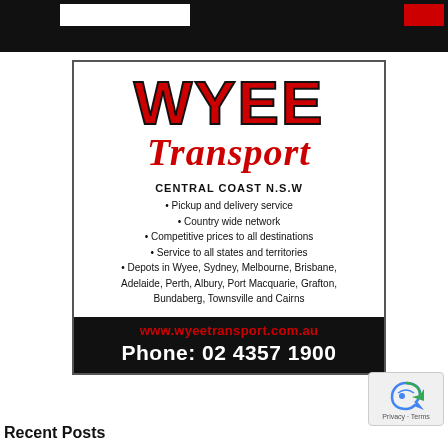[Figure (logo): Wyee Transport advertisement. Large red bold 'WYEE' text with black outline, red italic 'Transport' script below. Central Coast N.S.W. Bullet points: Pickup and delivery service, Country wide network, Competitive prices to all destinations, Service to all states and territories, Depots in Wyee, Sydney, Melbourne, Brisbane, Adelaide, Perth, Albury, Port Macquarie, Grafton, Bundaberg, Townsville and Cairns. Black footer with red website www.wyeetransport.com.au and white Phone: 02 4357 1900.]
Recent Posts